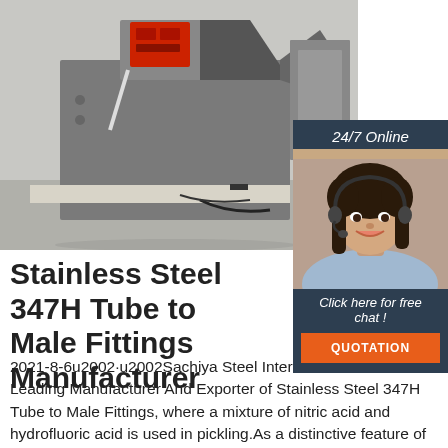[Figure (photo): Industrial machine (metal fabrication equipment) in a factory setting. Machine has a red control panel, grey heavy-duty metal frame, and is positioned on a factory floor.]
[Figure (photo): 24/7 Online customer service chat panel with a female agent wearing a headset, smiling. Includes 'Click here for free chat!' text and an orange QUOTATION button.]
Stainless Steel 347H Tube to Male Fittings Manufacturer
2021-8-6u2002·u2002Sachiya Steel International is one of the Leading Manufacturer And Exporter of Stainless Steel 347H Tube to Male Fittings, where a mixture of nitric acid and hydrofluoric acid is used in pickling.As a distinctive feature of high Nickel, machinability is difficult in comparison with